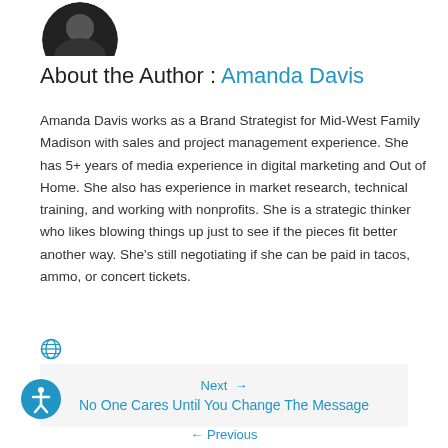[Figure (photo): Circular profile photo of Amanda Davis, cropped at bottom, dark clothing, dark background]
About the Author : Amanda Davis
Amanda Davis works as a Brand Strategist for Mid-West Family Madison with sales and project management experience. She has 5+ years of media experience in digital marketing and Out of Home. She also has experience in market research, technical training, and working with nonprofits. She is a strategic thinker who likes blowing things up just to see if the pieces fit better another way. She’s still negotiating if she can be paid in tacos, ammo, or concert tickets.
[Figure (other): Globe/website icon in blue]
Next →
No One Cares Until You Change The Message
[Figure (other): Accessibility icon button (person in circle, blue)]
← Previous